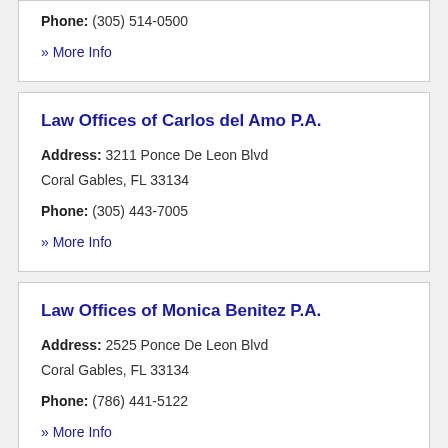Phone: (305) 514-0500
» More Info
Law Offices of Carlos del Amo P.A.
Address: 3211 Ponce De Leon Blvd Coral Gables, FL 33134
Phone: (305) 443-7005
» More Info
Law Offices of Monica Benitez P.A.
Address: 2525 Ponce De Leon Blvd Coral Gables, FL 33134
Phone: (786) 441-5122
» More Info